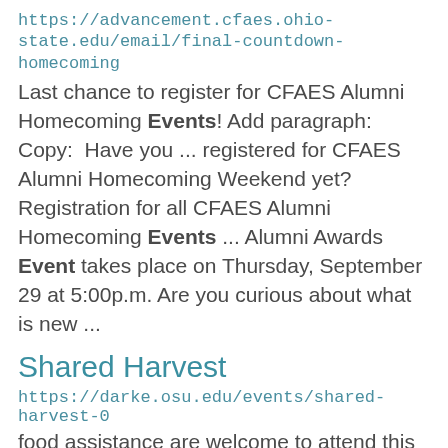https://advancement.cfaes.ohio-state.edu/email/final-countdown-homecoming
Last chance to register for CFAES Alumni Homecoming Events! Add paragraph: Copy:  Have you ... registered for CFAES Alumni Homecoming Weekend yet? Registration for all CFAES Alumni Homecoming Events ... Alumni Awards Event takes place on Thursday, September 29 at 5:00p.m. Are you curious about what is new ...
Shared Harvest
https://darke.osu.edu/events/shared-harvest-0
food assistance are welcome to attend this